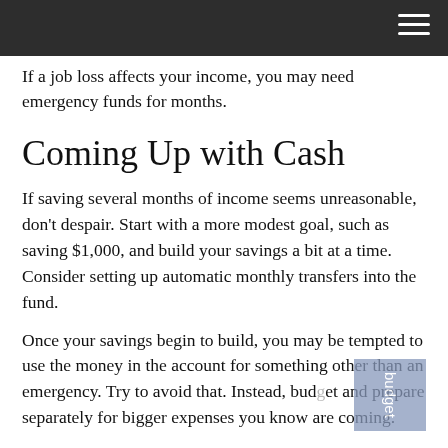If a job loss affects your income, you may need emergency funds for months.
Coming Up with Cash
If saving several months of income seems unreasonable, don't despair. Start with a more modest goal, such as saving $1,000, and build your savings a bit at a time. Consider setting up automatic monthly transfers into the fund.
Once your savings begin to build, you may be tempted to use the money in the account for something other than an emergency. Try to avoid that. Instead, budget and prepare separately for bigger expenses you know are coming.